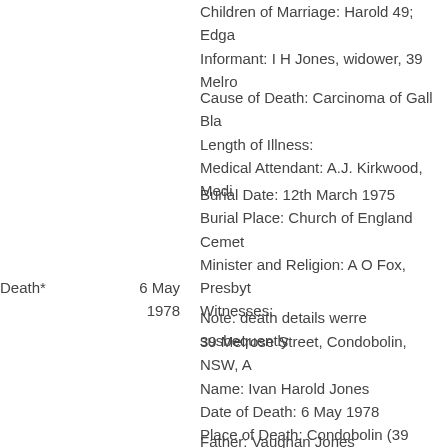Children of Marriage: Harold 49; Edgar
Informant: I H Jones, widower, 39 Melro
Cause of Death: Carcinoma of Gall Bla
Length of Illness:
Medical Attendant: A.J. Kirkwood, Medi
Burial Date: 12th March 1975
Burial Place: Church of England Cemet
Minister and Religion: A O Fox, Presbyt
Witnesses:
Note: death details werre susbequently
Death*
6 May
1978
39 Melrose Street, Condobolin, NSW, A
Name: Ivan Harold Jones
Date of Death: 6 May 1978
Place of Death: Condobolin (39 Melros
Occupation: Farmer
Sex: Male
Age: 80
Conjugal Status: Widower
Place of Birth: Nhill Victoria
Time in Aust Colonies:
Father: Vaughan Jones